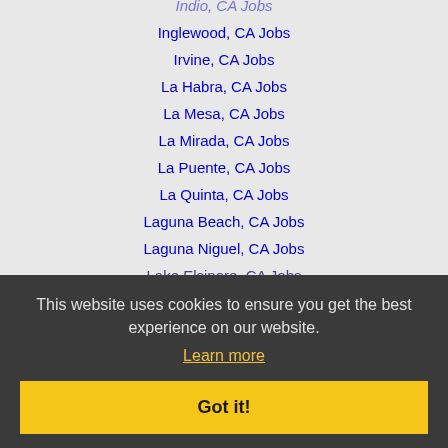Inglewood, CA Jobs
Irvine, CA Jobs
La Habra, CA Jobs
La Mesa, CA Jobs
La Mirada, CA Jobs
La Puente, CA Jobs
La Quinta, CA Jobs
Laguna Beach, CA Jobs
Laguna Niguel, CA Jobs
Lake Elsinore, CA Jobs
Lake Forest, CA Jobs
Lancaster, CA Jobs
Long Beach, CA Jobs
Los Angeles, CA Jobs
Lynwood, CA Jobs
Malibu, CA Jobs
Mission Viejo, CA Jobs
This website uses cookies to ensure you get the best experience on our website. Learn more
Got it!